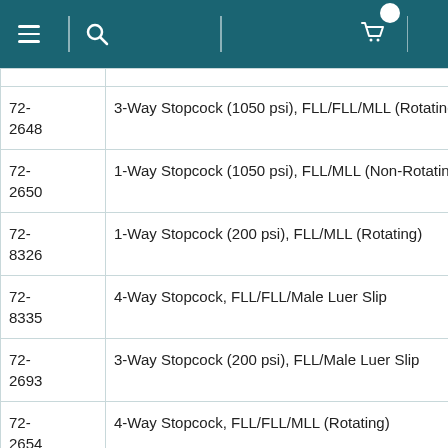Navigation header with menu, search, and cart icons
| Item # | Description |
| --- | --- |
| 72-2648 | 3-Way Stopcock (1050 psi), FLL/FLL/MLL (Rotating) |
| 72-2650 | 1-Way Stopcock (1050 psi), FLL/MLL (Non-Rotating) |
| 72-8326 | 1-Way Stopcock (200 psi), FLL/MLL (Rotating) |
| 72-8335 | 4-Way Stopcock, FLL/FLL/Male Luer Slip |
| 72-2693 | 3-Way Stopcock (200 psi), FLL/Male Luer Slip |
| 72-2654 | 4-Way Stopcock, FLL/FLL/MLL (Rotating) |
| 72- | 1-Way Stopcock (1050 psi), FLL/MLL |